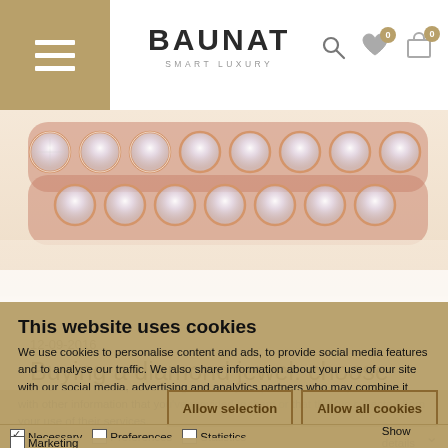BAUNAT SMART LUXURY
[Figure (photo): Close-up of a rose gold diamond bracelet/tennis necklace with sparkling round diamonds set in rose gold prong settings]
12-09-2016
Buying a diamond jewel: choose red gold
This website uses cookies
We use cookies to personalise content and ads, to provide social media features and to analyse our traffic. We also share information about your use of our site with our social media, advertising and analytics partners who may combine it with other information that you've provided to them or that they've collected from your use of their services.
Allow selection | Allow all cookies
Necessary  Preferences  Statistics  Marketing  Show details